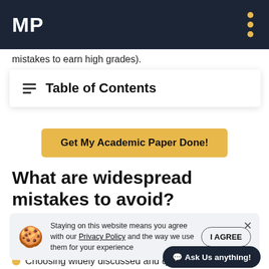MP
mistakes to earn high grades).
Table of Contents
Get My Academic Paper Done!
What are widespread mistakes to avoid?
There are certain things that should be avoided to submit an excellent compare and contrast paper, including:
Staying on this website means you agree with our Privacy Policy and the way we use them for your experience
an effective outline and start writing the first draft):
Choosing widely discussed and q